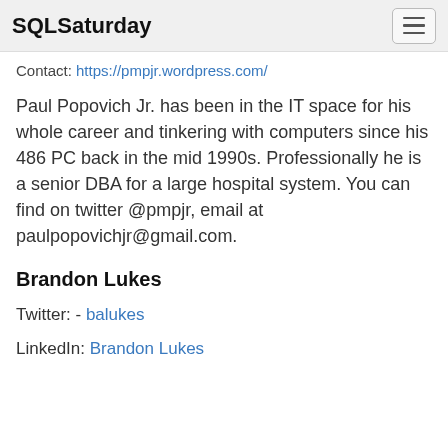SQLSaturday
Contact: https://pmpjr.wordpress.com/
Paul Popovich Jr. has been in the IT space for his whole career and tinkering with computers since his 486 PC back in the mid 1990s. Professionally he is a senior DBA for a large hospital system. You can find on twitter @pmpjr, email at paulpopovichjr@gmail.com.
Brandon Lukes
Twitter: - balukes
LinkedIn: Brandon Lukes